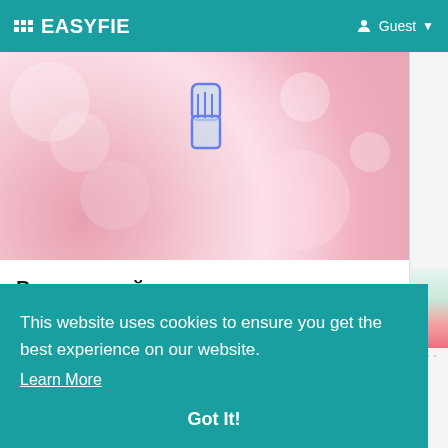EASYFIE — Guest
[Figure (photo): Pink bokeh background with a hand/pointer finger icon in the center]
Витаминный комплексы для суставов
22 Aug 2022
[Figure (photo): Light blue partial image — second article thumbnail]
This website uses cookies to ensure you get the best experience on our website. Learn More
Got It!